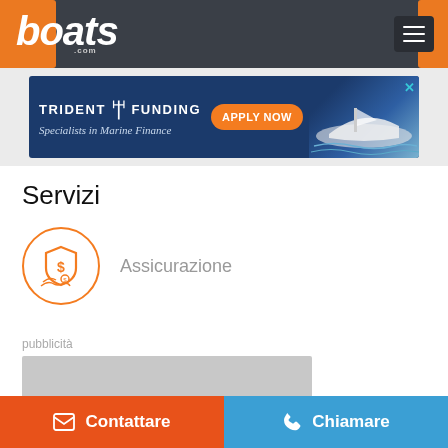boats.com
[Figure (screenshot): Trident Funding marine finance advertisement banner with Apply Now button and boat image]
Servizi
[Figure (logo): Orange circle insurance icon with shield and dollar sign]
Assicurazione
pubblicità
[Figure (other): Gray advertisement placeholder rectangle]
Contattare
Chiamare